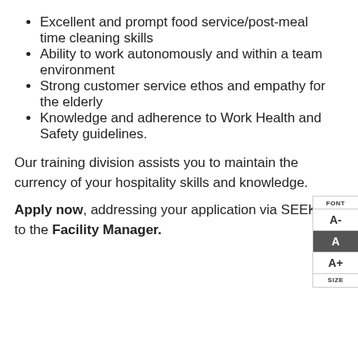Excellent and prompt food service/post-meal time cleaning skills
Ability to work autonomously and within a team environment
Strong customer service ethos and empathy for the elderly
Knowledge and adherence to Work Health and Safety guidelines.
Our training division assists you to maintain the currency of your hospitality skills and knowledge.
Apply now, addressing your application via SEEK to the Facility Manager.